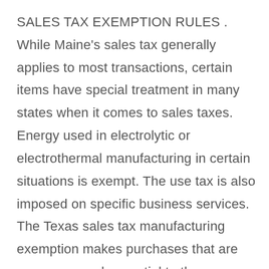SALES TAX EXEMPTION RULES . While Maine's sales tax generally applies to most transactions, certain items have special treatment in many states when it comes to sales taxes. Energy used in electrolytic or electrothermal manufacturing in certain situations is exempt. The use tax is also imposed on specific business services. The Texas sales tax manufacturing exemption makes purchases that are necessary and essential to the manufacturing process non-taxable. This page describes the taxability of manufacturing and machinery in Maine, including machinery, raw materials and utilities & fuel. Manufacturers are also responsible for paying sales and use tax on the taxable services used in its